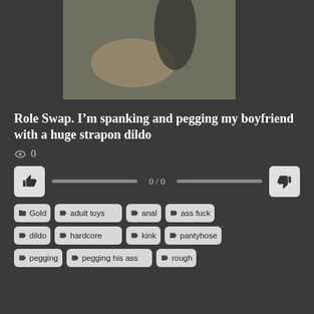[Figure (photo): Thumbnail image of a person lying on a green surface]
Role Swap. I’m spanking and pegging my boyfriend with a huge strapon dildo
0 views
0 / 0 vote bar
Gold
adult toys
anal
ass fuck
dildo
hardcore
kink
pantyhose
pegging
pegging his ass
rough